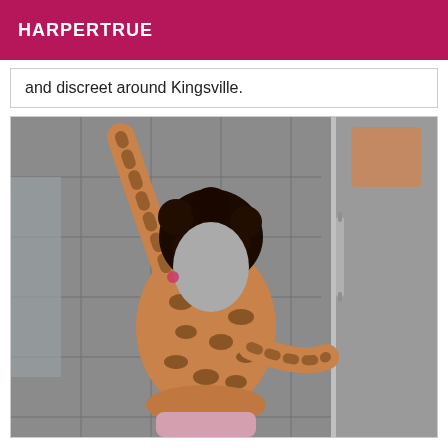HARPERTRUE
and discreet around Kingsville.
[Figure (photo): A person wearing a leopard-print outfit posing in a bathroom/shower area with grey tiles. The face is obscured with a grey oval shape. One arm is raised. There is a glass shower door on the right side.]